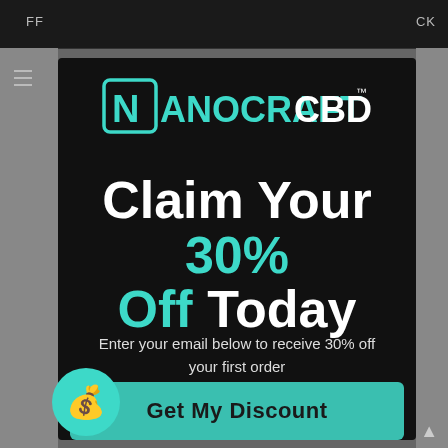[Figure (logo): NanoCraft CBD logo in teal color with geometric N icon]
Claim Your 30% Off Today
Enter your email below to receive 30% off your first order
Email
Get My Discount